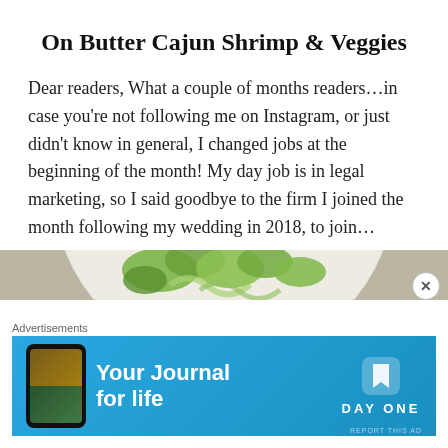On Butter Cajun Shrimp & Veggies
Dear readers, What a couple of months readers…in case you're not following me on Instagram, or just didn't know in general, I changed jobs at the beginning of the month! My day job is in legal marketing, so I said goodbye to the firm I joined the month following my wedding in 2018, to join…
READ MORE
[Figure (photo): Partial view of a plate with green vegetables (broccoli/green beans) on a granite or stone countertop background]
Advertisements
[Figure (screenshot): Advertisement banner for Day One app — 'Your Journal for life' on a blue background with a phone graphic and Day One logo]